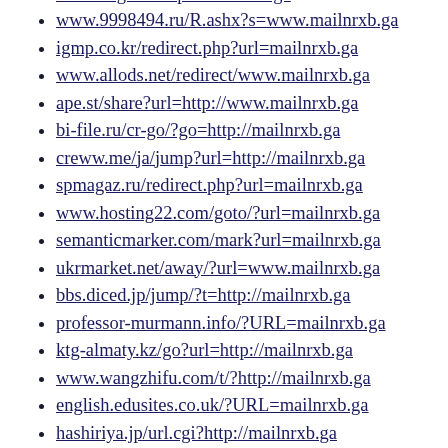…/…/goto?http://mailnrxb.ga (truncated top)
www.9998494.ru/R.ashx?s=www.mailnrxb.ga
igmp.co.kr/redirect.php?url=mailnrxb.ga
www.allods.net/redirect/www.mailnrxb.ga
ape.st/share?url=http://www.mailnrxb.ga
bi-file.ru/cr-go/?go=http://mailnrxb.ga
creww.me/ja/jump?url=http://mailnrxb.ga
spmagaz.ru/redirect.php?url=mailnrxb.ga
www.hosting22.com/goto/?url=mailnrxb.ga
semanticmarker.com/mark?url=mailnrxb.ga
ukrmarket.net/away/?url=www.mailnrxb.ga
bbs.diced.jp/jump/?t=http://mailnrxb.ga
professor-murmann.info/?URL=mailnrxb.ga
ktg-almaty.kz/go?url=http://mailnrxb.ga
www.wangzhifu.com/t/?http://mailnrxb.ga
english.edusites.co.uk/?URL=mailnrxb.ga
hashiriya.jp/url.cgi?http://mailnrxb.ga
www.psuaaup.net/?URL=http://mailnrxb.ga
outlink.net4u.org/?q=http://mailnrxb.ga
…(truncated bottom) http://mailnrxb.ga